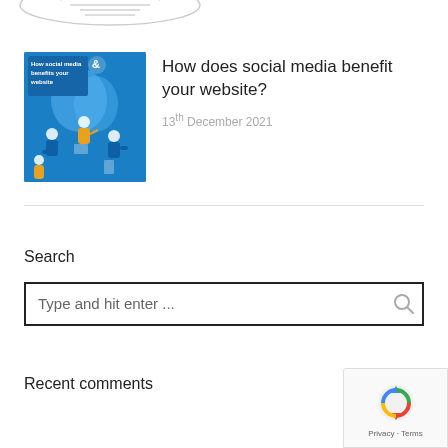[Figure (illustration): Partial view of a book/document illustration at the top of the page, cropped]
[Figure (photo): Thumbnail image for blog post: blue background with illustrated people using social media on devices, text overlay 'How social media benefits your website']
How does social media benefit your website?
13th December 2021
Search
Type and hit enter ...
Recent comments
[Figure (logo): Google reCAPTCHA badge with spinning arrows logo and 'Privacy · Terms' text]